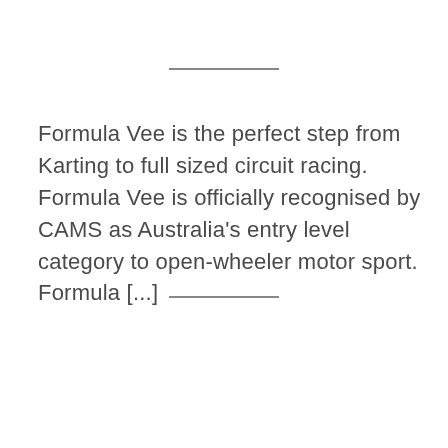Formula Vee is the perfect step from Karting to full sized circuit racing. Formula Vee is officially recognised by CAMS as Australia's entry level category to open-wheeler motor sport. Formula [...]